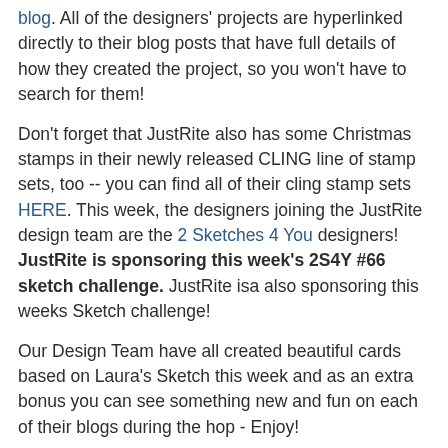blog.  All of the designers' projects are hyperlinked directly to their blog posts that have full details of how they created the project, so you won't have to search for them!
Don't forget that JustRite also has some Christmas stamps in their newly released CLING line of stamp sets, too -- you can find all of their cling stamp sets HERE.  This week, the designers joining the JustRite design team are the 2 Sketches 4 You designers!  JustRite is sponsoring this week's 2S4Y #66 sketch challenge.  JustRite isa also sponsoring this weeks Sketch challenge!
Our Design Team have all created beautiful cards based on Laura's Sketch this week and as an extra bonus you can see something new and fun on each of their blogs during the hop - Enjoy!
JustRite Inspiration Blog
2 Sketches 4 You
Debbie Olson
Kazan Clark
Laura Davis